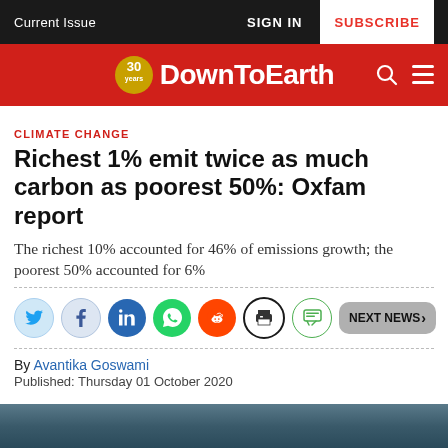Current Issue | SIGN IN | SUBSCRIBE
[Figure (logo): DownToEarth magazine logo with 30 years badge on red background]
CLIMATE CHANGE
Richest 1% emit twice as much carbon as poorest 50%: Oxfam report
The richest 10% accounted for 46% of emissions growth; the poorest 50% accounted for 6%
[Figure (other): Social sharing icons: Twitter, Facebook, LinkedIn, WhatsApp, Reddit, Print, Comment, and NEXT NEWS button]
By Avantika Goswami
Published: Thursday 01 October 2020
[Figure (photo): Partial photo at bottom of page, dark blue-grey tones]